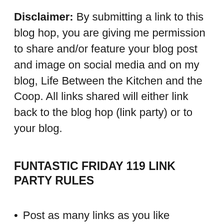Disclaimer: By submitting a link to this blog hop, you are giving me permission to share and/or feature your blog post and image on social media and on my blog, Life Between the Kitchen and the Coop. All links shared will either link back to the blog hop (link party) or to your blog.
FUNTASTIC FRIDAY 119 LINK PARTY RULES
Post as many links as you like